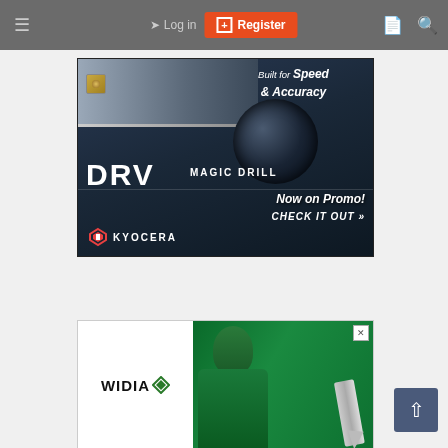Log in | Register
[Figure (photo): Kyocera DRV Magic Drill advertisement: dark blue metallic background with drill body and insert, text reads 'Built for Speed & Accuracy', 'DRV MAGIC DRILL', 'Now on Promo! CHECK IT OUT »', Kyocera logo at bottom left]
[Figure (photo): WIDIA advertisement: left side white background with WIDIA logo, right side green-tinted image of a man holding a drill/end mill]